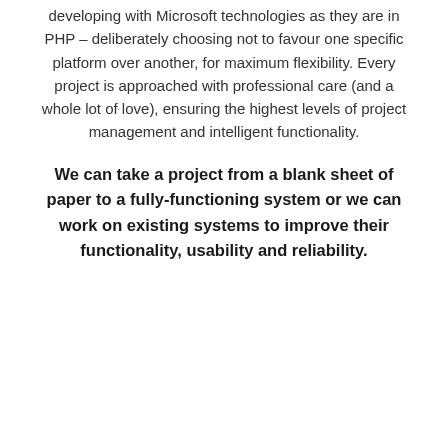Epicor's technical team are as proficient in developing with Microsoft technologies as they are in PHP – deliberately choosing not to favour one specific platform over another, for maximum flexibility. Every project is approached with professional care (and a whole lot of love), ensuring the highest levels of project management and intelligent functionality.
We can take a project from a blank sheet of paper to a fully-functioning system or we can work on existing systems to improve their functionality, usability and reliability.